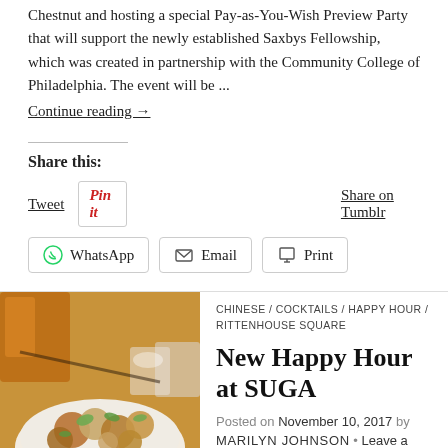Chestnut and hosting a special Pay-as-You-Wish Preview Party that will support the newly established Saxbys Fellowship, which was created in partnership with the Community College of Philadelphia. The event will be ...
Continue reading →
Share this:
Tweet   Pin It   Share on Tumblr
WhatsApp   Email   Print
CHINESE / COCKTAILS / HAPPY HOUR / RITTENHOUSE SQUARE
New Happy Hour at SUGA
Posted on November 10, 2017 by MARILYN JOHNSON • Leave a comment
SUGA, the Modern Chinese